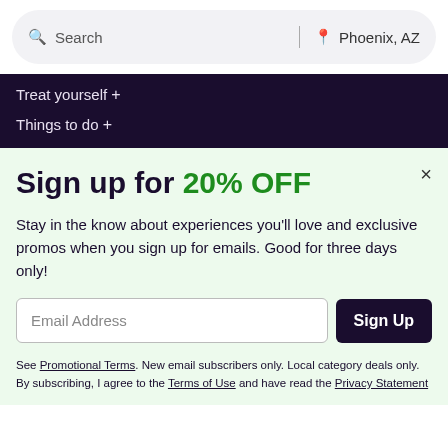Search   Phoenix, AZ
Treat yourself +
Things to do +
Sign up for 20% OFF
Stay in the know about experiences you'll love and exclusive promos when you sign up for emails. Good for three days only!
Email Address  Sign Up
See Promotional Terms. New email subscribers only. Local category deals only. By subscribing, I agree to the Terms of Use and have read the Privacy Statement